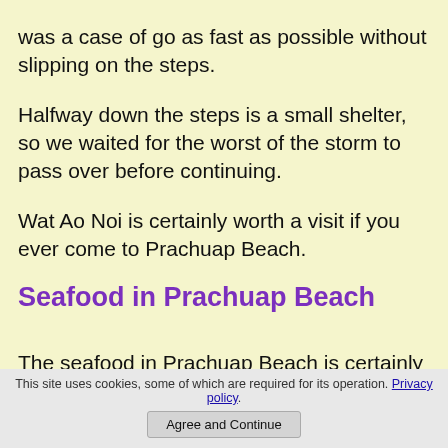was a case of go as fast as possible without slipping on the steps.
Halfway down the steps is a small shelter, so we waited for the worst of the storm to pass over before continuing.
Wat Ao Noi is certainly worth a visit if you ever come to Prachuap Beach.
Seafood in Prachuap Beach
The seafood in Prachuap Beach is certainly worth trying.
Thailand seafood is some of the best in the
This site uses cookies, some of which are required for its operation. Privacy policy. Agree and Continue